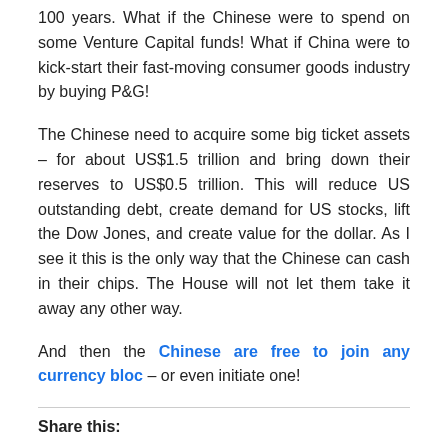100 years. What if the Chinese were to spend on some Venture Capital funds! What if China were to kick-start their fast-moving consumer goods industry by buying P&G!
The Chinese need to acquire some big ticket assets – for about US$1.5 trillion and bring down their reserves to US$0.5 trillion. This will reduce US outstanding debt, create demand for US stocks, lift the Dow Jones, and create value for the dollar. As I see it this is the only way that the Chinese can cash in their chips. The House will not let them take it away any other way.
And then the Chinese are free to join any currency bloc – or even initiate one!
Share this: